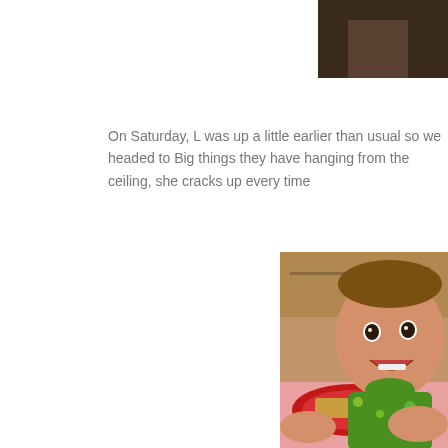[Figure (photo): Partial photo visible at top right corner — appears to be a person in a dark setting, cropped]
On Saturday, L was up a little earlier than usual so we headed to Big things they have hanging from the ceiling, she cracks up every time
[Figure (photo): Large photo of a smiling baby/toddler sitting at a restaurant table with a red plate containing food, wearing a colorful green bib, pink checkered tablecloth visible, other diners in background]
[Figure (photo): Bottom-left photo of the same baby/toddler at the restaurant table, mouth open wide laughing, same setting]
[Figure (photo): Bottom-right partial photo of the same baby/toddler at the restaurant table, similar laughing expression]